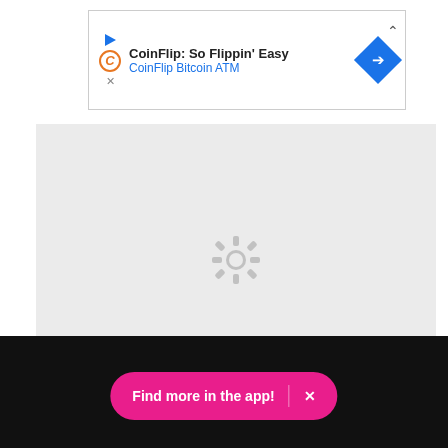[Figure (screenshot): CoinFlip Bitcoin ATM advertisement banner with title 'CoinFlip: So Flippin' Easy' and subtitle 'CoinFlip Bitcoin ATM', blue diamond arrow icon, and collapse chevron]
[Figure (screenshot): Gray loading/buffering area with a gear/spinner icon in the center representing a loading video embed]
NBC / youtube.com
[Figure (infographic): Social sharing buttons: Facebook (blue circle) and Pinterest (red circle)]
[Figure (screenshot): Dark footer area with a pink rounded 'Find more in the app!' button with an X close button]